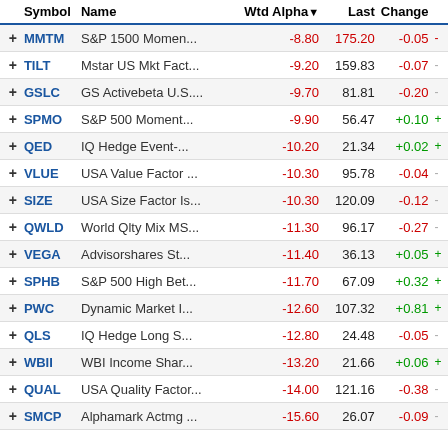|  | Symbol | Name | Wtd Alpha▼ | Last | Change |  |
| --- | --- | --- | --- | --- | --- | --- |
| + | MMTM | S&P 1500 Momen... | -8.80 | 175.20 | -0.05 | - |
| + | TILT | Mstar US Mkt Fact... | -9.20 | 159.83 | -0.07 | - |
| + | GSLC | GS Activebeta U.S.... | -9.70 | 81.81 | -0.20 | - |
| + | SPMO | S&P 500 Moment... | -9.90 | 56.47 | +0.10 | + |
| + | QED | IQ Hedge Event-... | -10.20 | 21.34 | +0.02 | + |
| + | VLUE | USA Value Factor ... | -10.30 | 95.78 | -0.04 | - |
| + | SIZE | USA Size Factor Is... | -10.30 | 120.09 | -0.12 | - |
| + | QWLD | World Qlty Mix MS... | -11.30 | 96.17 | -0.27 | - |
| + | VEGA | Advisorshares St... | -11.40 | 36.13 | +0.05 | + |
| + | SPHB | S&P 500 High Bet... | -11.70 | 67.09 | +0.32 | + |
| + | PWC | Dynamic Market I... | -12.60 | 107.32 | +0.81 | + |
| + | QLS | IQ Hedge Long S... | -12.80 | 24.48 | -0.05 | - |
| + | WBII | WBI Income Shar... | -13.20 | 21.66 | +0.06 | + |
| + | QUAL | USA Quality Factor... | -14.00 | 121.16 | -0.38 | - |
| + | SMCP | Alphamark Actmg ... | -15.60 | 26.07 | -0.09 | - |